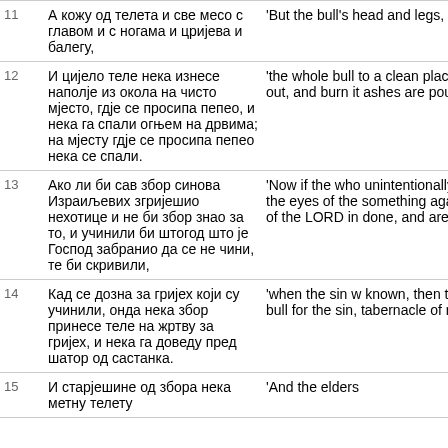| # | Serbian | English |
| --- | --- | --- |
| 11 | А кожу од телета и све месо с главом и с ногама и цријева и балегу, | 'But the bull's head and legs, i |
| 12 | И цијело теле нека изнесе наполје из окола на чисто мјесто, гдје се просипа пепео, и нека га спали огњем на дрвима; на мјесту гдје се просипа пепео нека се спали. | 'the whole bull to a clean place out, and burn it ashes are poure |
| 13 | Ако ли би сав збор синова Израиљевих згријешио нехотице и не би збор знао за то, и учинили би штогод што је Господ забранио да се не чини, те би скривили, | 'Now if the who unintentionally, the eyes of the something agai of the LORD in done, and are g |
| 14 | Кад се дозна за гријех који су учинили, онда нека збор принесе теле на жртву за гријех, и нека га доведу пред шатор од састанка. | 'when the sin w known, then the bull for the sin, tabernacle of m |
| 15 | И старјешине од збора нека метну телету | 'And the elders |